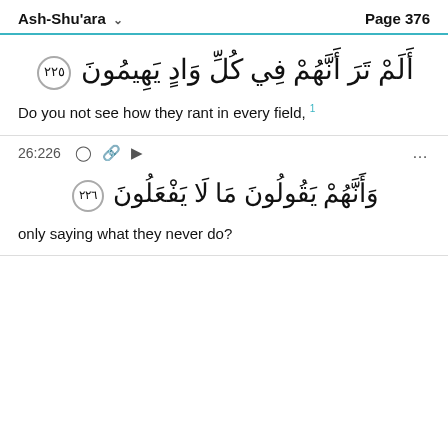Ash-Shu'ara   Page 376
أَلَمْ تَرَ أَنَّهُمْ فِي كُلِّ وَادٍ يَهِيمُونَ ۞ ٢٢٥
Do you not see how they rant in every field,¹
26:226 ◯ 🔗 ▷ ...
وَأَنَّهُمْ يَقُولُونَ مَا لَا يَفْعَلُونَ ۞ ٢٢٦
only saying what they never do?